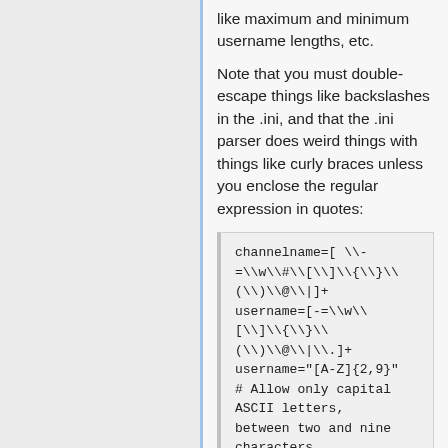like maximum and minimum username lengths, etc.
Note that you must double-escape things like backslashes in the .ini, and that the .ini parser does weird things with things like curly braces unless you enclose the regular expression in quotes:
channelname=[ \-=\w\#\[\]\{\}\(\)\@\|]+
username=[-=\w\[\]\{\}\(\)\@\|\.]+
username="[A-Z]{2,9}" # Allow only capital ASCII letters, between two and nine characters (inclusively).